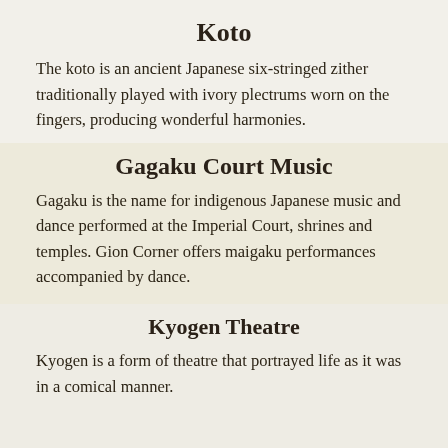Koto
The koto is an ancient Japanese six-stringed zither traditionally played with ivory plectrums worn on the fingers, producing wonderful harmonies.
Gagaku Court Music
Gagaku is the name for indigenous Japanese music and dance performed at the Imperial Court, shrines and temples. Gion Corner offers maigaku performances accompanied by dance.
Kyogen Theatre
Kyogen is a form of theatre that portrayed life as it was in a comical manner.